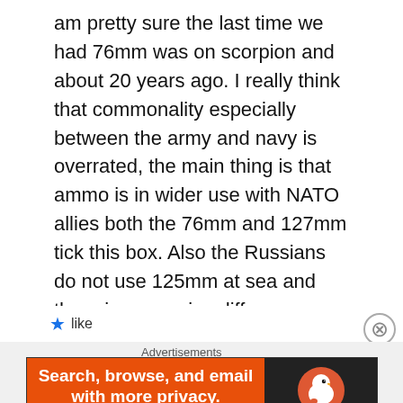am pretty sure the last time we had 76mm was on scorpion and about 20 years ago. I really think that commonality especially between the army and navy is overrated, the main thing is that ammo is in wider use with NATO allies both the 76mm and 127mm tick this box. Also the Russians do not use 125mm at sea and there is a massive difference between artillery firing at tens of kilometres plus and tanks shooting in parallel with land where approx 5km has been the longest kill.
Like
Advertisements
[Figure (other): DuckDuckGo advertisement banner with orange background. Text reads 'Search, browse, and email with more privacy. All in One Free App' with DuckDuckGo logo on dark right panel.]